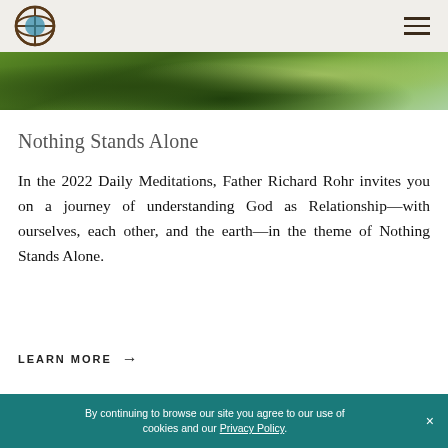[Figure (photo): Tree canopy photograph viewed from below, showing green leaves and branches against a bright sky.]
Nothing Stands Alone
In the 2022 Daily Meditations, Father Richard Rohr invites you on a journey of understanding God as Relationship—with ourselves, each other, and the earth—in the theme of Nothing Stands Alone.
LEARN MORE →
By continuing to browse our site you agree to our use of cookies and our Privacy Policy.